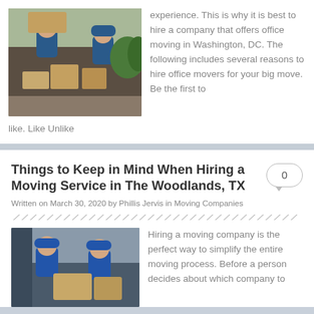[Figure (photo): Two movers in blue uniforms loading boxes into a moving truck]
experience. This is why it is best to hire a company that offers office moving in Washington, DC. The following includes several reasons to hire office movers for your big move. Be the first to like. Like Unlike
Things to Keep in Mind When Hiring a Moving Service in The Woodlands, TX
Written on March 30, 2020 by Phillis Jervis in Moving Companies
[Figure (photo): Two movers in blue uniforms carrying boxes in front of a moving truck]
Hiring a moving company is the perfect way to simplify the entire moving process. Before a person decides about which company to